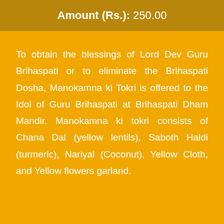Amount (Rs.): 250.00
To obtain the blessings of Lord Dev Guru Brihaspati or to eliminate the Brihaspati Dosha, Manokamna ki Tokri is offered to the Idol of Guru Brihaspati at Brihaspati Dham Mandir. Manokamna ki tokri consists of Chana Dal (yellow lentils), Saboth Haldi (turmeric), Nariyal (Coconut), Yellow Cloth, and Yellow flowers garland.